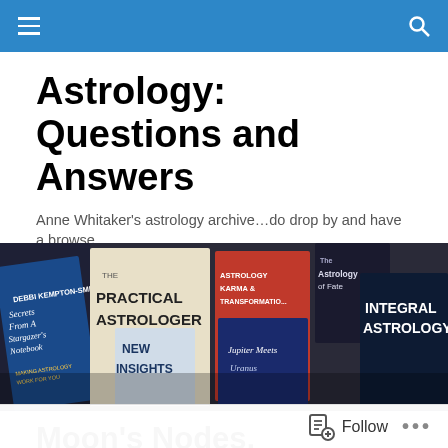Navigation bar with hamburger menu and search icon
Astrology: Questions and Answers
Anne Whitaker's astrology archive…do drop by and have a browse…
[Figure (photo): A collection of astrology books spread out, including 'The Practical Astrologer', 'Secrets From A Stargazer's Notebook', 'New Insights', 'Astrology Karma & Transformation', 'The Astrology of Fate', 'Jupiter Meets Uranus', and 'Integral Astrology']
Moon's Nodes, Saturn/Pluto and a 'just war'?
Follow •••